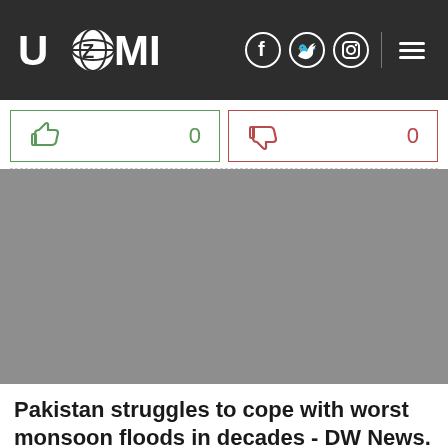UAZMI
[Figure (infographic): Vote buttons row: thumbs up icon with count 0 (green border), thumbs down icon with count 0 (red border)]
[Figure (photo): Gray placeholder image for article thumbnail]
Pakistan struggles to cope with worst monsoon floods in decades - DW News.